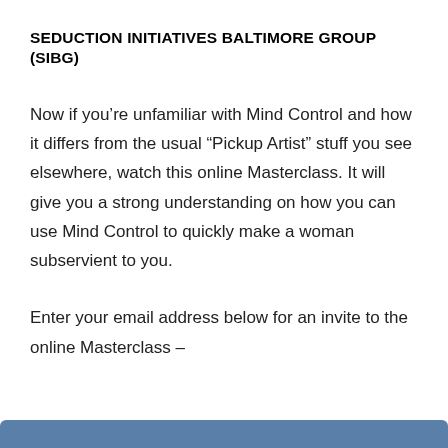SEDUCTION INITIATIVES BALTIMORE GROUP (SIBG)
Now if you’re unfamiliar with Mind Control and how it differs from the usual “Pickup Artist” stuff you see elsewhere, watch this online Masterclass. It will give you a strong understanding on how you can use Mind Control to quickly make a woman subservient to you.
Enter your email address below for an invite to the online Masterclass –